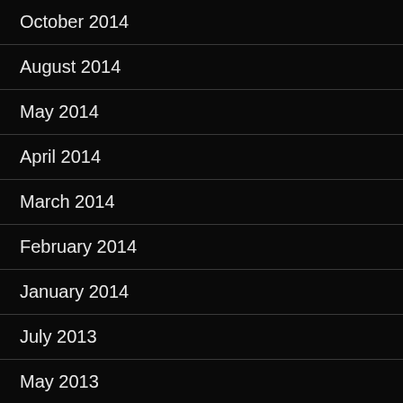October 2014
August 2014
May 2014
April 2014
March 2014
February 2014
January 2014
July 2013
May 2013
April 2013
CATEGORIES